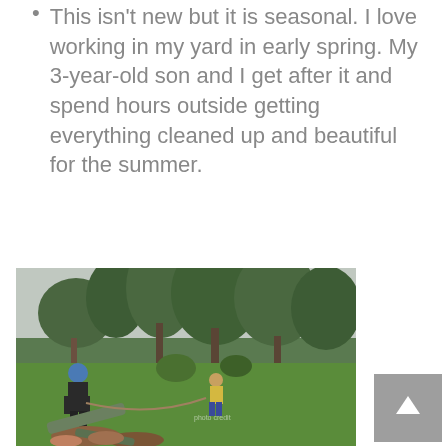This isn't new but it is seasonal. I love working in my yard in early spring. My 3-year-old son and I get after it and spend hours outside getting everything cleaned up and beautiful for the summer.
[Figure (photo): A person wearing a blue hat and dark clothes works in a yard surrounded by large pine trees, while a child in a yellow shirt and blue pants stands nearby on the green lawn. Cut branches and logs are piled in the foreground.]